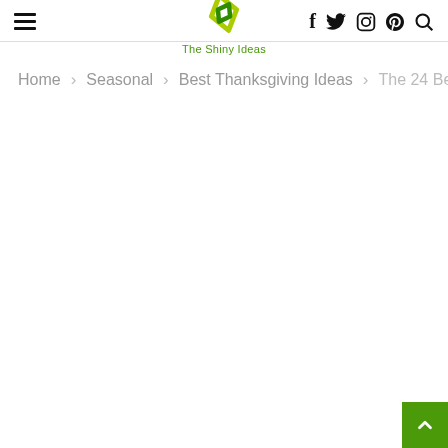The Shiny Ideas — site header with hamburger menu, logo, social icons (f, twitter, instagram, pinterest, search)
Home > Seasonal > Best Thanksgiving Ideas > The 24 Best Id…